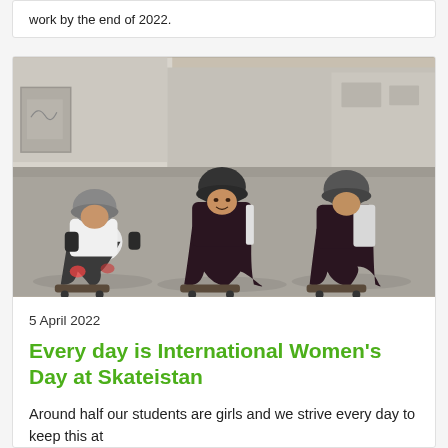work by the end of 2022.
[Figure (photo): Three children wearing helmets and protective gear sitting on skateboards on a concrete surface, with a wall and dry landscape in the background. They appear to be at a skateboarding program.]
5 April 2022
Every day is International Women's Day at Skateistan
Around half our students are girls and we strive every day to keep this at